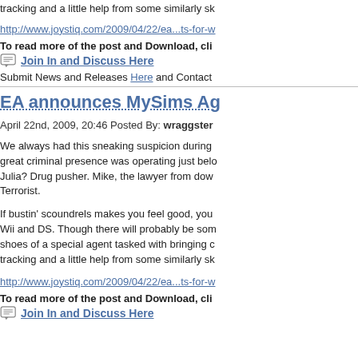tracking and a little help from some similarly sk
http://www.joystiq.com/2009/04/22/ea...ts-for-w
To read more of the post and Download, cli
Join In and Discuss Here
Submit News and Releases Here and Contact
EA announces MySims Ag
April 22nd, 2009, 20:46 Posted By: wraggster
We always had this sneaking suspicion during great criminal presence was operating just belo Julia? Drug pusher. Mike, the lawyer from dow Terrorist.
If bustin' scoundrels makes you feel good, you Wii and DS. Though there will probably be som shoes of a special agent tasked with bringing c tracking and a little help from some similarly sk
http://www.joystiq.com/2009/04/22/ea...ts-for-w
To read more of the post and Download, cli
Join In and Discuss Here